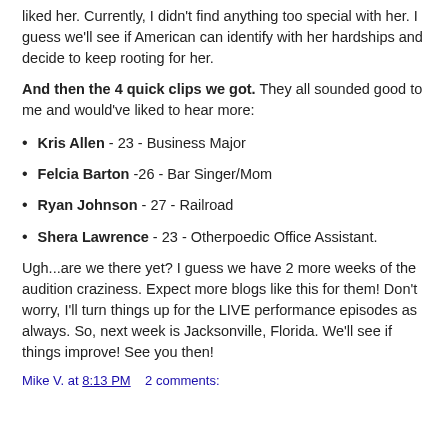liked her. Currently, I didn't find anything too special with her. I guess we'll see if American can identify with her hardships and decide to keep rooting for her.
And then the 4 quick clips we got. They all sounded good to me and would've liked to hear more:
Kris Allen - 23 - Business Major
Felcia Barton -26 - Bar Singer/Mom
Ryan Johnson - 27 - Railroad
Shera Lawrence - 23 - Otherpoedic Office Assistant.
Ugh...are we there yet? I guess we have 2 more weeks of the audition craziness. Expect more blogs like this for them! Don't worry, I'll turn things up for the LIVE performance episodes as always. So, next week is Jacksonville, Florida. We'll see if things improve! See you then!
Mike V. at 8:13 PM    2 comments: